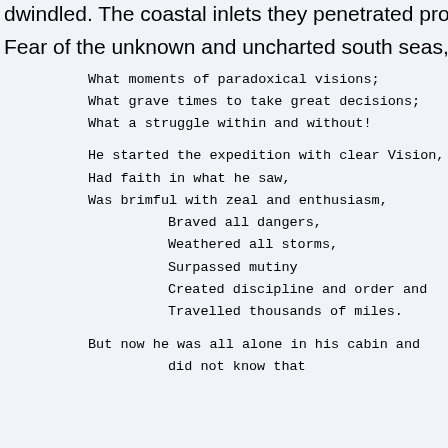dwindled. The coastal inlets they penetrated proved to be buoy
Fear of the unknown and uncharted south seas, fear of starvati
What moments of paradoxical visions;
What grave times to take great decisions;
What a struggle within and without!
He started the expedition with clear Vision,
Had faith in what he saw,
Was brimful with zeal and enthusiasm,
Braved all dangers,
Weathered all storms,
Surpassed mutiny
Created discipline and order and
Travelled thousands of miles.
But now he was all alone in his cabin and
did not know that